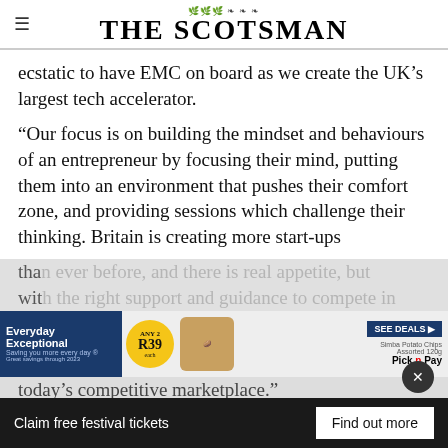THE SCOTSMAN
ecstatic to have EMC on board as we create the UK’s largest tech accelerator.
“Our focus is on building the mindset and behaviours of an entrepreneur by focusing their mind, putting them into an environment that pushes their comfort zone, and providing sessions which challenge their thinking. Britain is creating more start-ups tha[...] wit[...] today’s competitive marketplace.”
[Figure (other): Pick n Pay advertisement banner: Everyday Exceptional, ANY 2 for $39, Simba Potato Chips, SEE DEALS]
Claim free festival tickets  Find out more